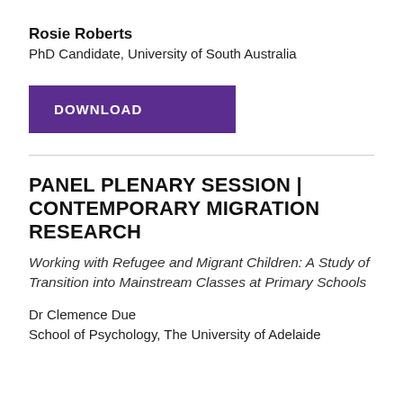Rosie Roberts
PhD Candidate, University of South Australia
[Figure (other): Purple download button with text DOWNLOAD]
PANEL PLENARY SESSION | CONTEMPORARY MIGRATION RESEARCH
Working with Refugee and Migrant Children: A Study of Transition into Mainstream Classes at Primary Schools
Dr Clemence Due
School of Psychology, The University of Adelaide